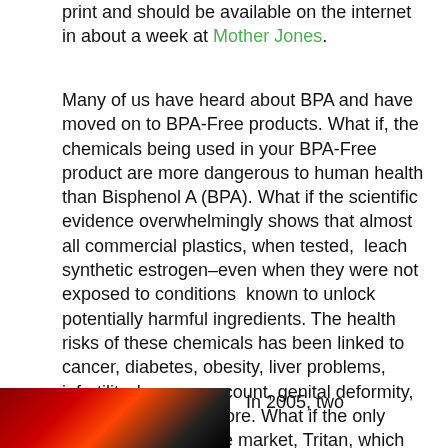print and should be available on the internet in about a week at Mother Jones.
Many of us have heard about BPA and have moved on to BPA-Free products. What if, the chemicals being used in your BPA-Free product are more dangerous to human health than Bisphenol A (BPA). What if the scientific evidence overwhelmingly shows that almost all commercial plastics, when tested,  leach synthetic estrogen–even when they were not exposed to conditions  known to unlock potentially harmful ingredients. The health risks of these chemicals has been linked to cancer, diabetes, obesity, liver problems, infertility, low sperm count, genital deformity, heart disease and more. What if the only plastic product on the market, Tritan, which advertises itself as having no harmful estrogenic activity, is more harmful to human health than BPA?
[Figure (photo): Red and dark colored image, partially visible at bottom left of page]
In 2005, two